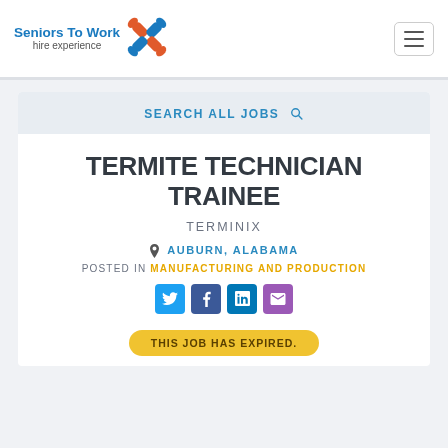[Figure (logo): Seniors To Work hire experience logo with interlocking hands icon]
SEARCH ALL JOBS
TERMITE TECHNICIAN TRAINEE
TERMINIX
AUBURN, ALABAMA
POSTED IN MANUFACTURING AND PRODUCTION
[Figure (infographic): Social media share icons: Twitter, Facebook, LinkedIn, Email]
THIS JOB HAS EXPIRED.